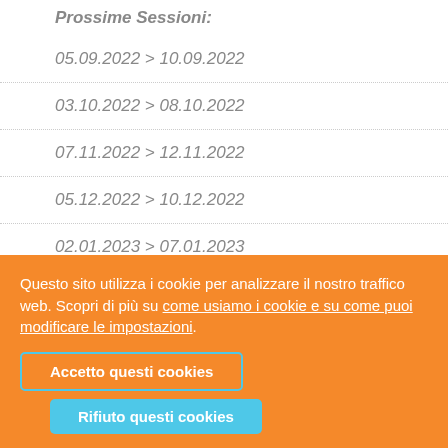Prossime Sessioni:
05.09.2022 > 10.09.2022
03.10.2022 > 08.10.2022
07.11.2022 > 12.11.2022
05.12.2022 > 10.12.2022
02.01.2023 > 07.01.2023
06.02.2023 > 11.02.2023
06.03.2023 > 11.03.2023
Questo sito utilizza i cookie per analizzare il nostro traffico web. Scopri di più su come usiamo i cookie e su come puoi modificare le impostazioni.
Accetto questi cookies
Rifiuto questi cookies